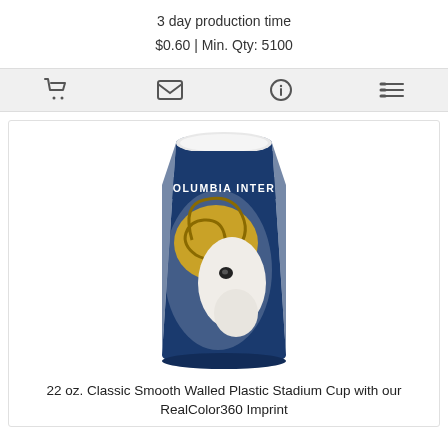3 day production time
$0.60 | Min. Qty: 5100
[Figure (other): Icon bar with shopping cart, envelope, info, and list icons]
[Figure (photo): 22 oz. classic smooth walled plastic stadium cup with Columbia International ram mascot RealColor360 imprint on navy blue background]
22 oz. Classic Smooth Walled Plastic Stadium Cup with our RealColor360 Imprint